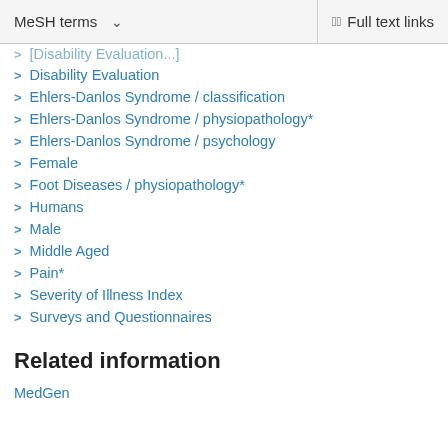MeSH terms  ∨    Full text links
Disability Evaluation
Ehlers-Danlos Syndrome / classification
Ehlers-Danlos Syndrome / physiopathology*
Ehlers-Danlos Syndrome / psychology
Female
Foot Diseases / physiopathology*
Humans
Male
Middle Aged
Pain*
Severity of Illness Index
Surveys and Questionnaires
Related information
MedGen